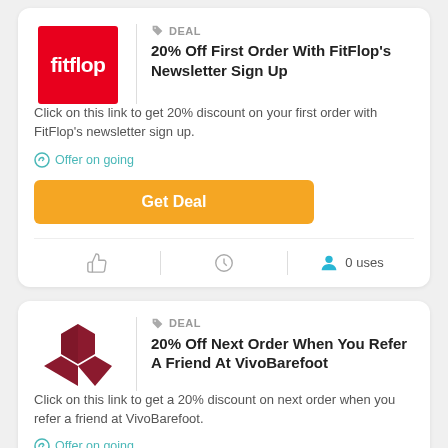[Figure (logo): FitFlop brand logo - red square with white fitflop text]
DEAL
20% Off First Order With FitFlop's Newsletter Sign Up
Click on this link to get 20% discount on your first order with FitFlop's newsletter sign up.
Offer on going
Get Deal
0 uses
[Figure (logo): VivoBarefoot brand logo - dark red hexagonal V shape]
DEAL
20% Off Next Order When You Refer A Friend At VivoBarefoot
Click on this link to get a 20% discount on next order when you refer a friend at VivoBarefoot.
Offer on going
Get Deal